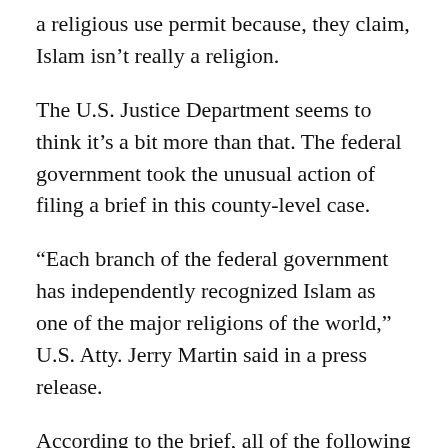a religious use permit because, they claim, Islam isn't really a religion.
The U.S. Justice Department seems to think it's a bit more than that. The federal government took the unusual action of filing a brief in this county-level case.
“Each branch of the federal government has independently recognized Islam as one of the major religions of the world,” U.S. Atty. Jerry Martin said in a press release.
According to the brief, all of the following authenticated documents have recognized Islam as a major world religion: the Oxford English Dictionar... U.S. Supreme Court...